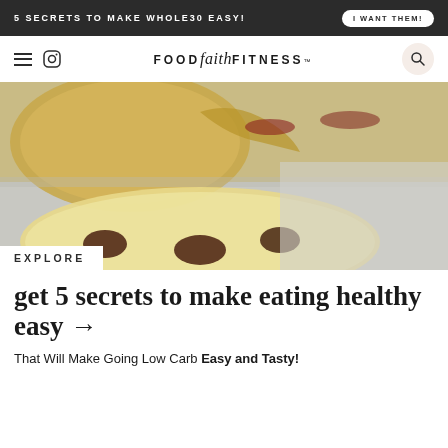5 SECRETS TO MAKE WHOLE30 EASY! | I WANT THEM!
FOOD faith FITNESS
[Figure (photo): Close-up photo of cookies with chocolate chips on a light surface, with one cookie broken showing interior]
EXPLORE
get 5 secrets to make eating healthy easy →
That Will Make Going Low Carb Easy and Tasty!